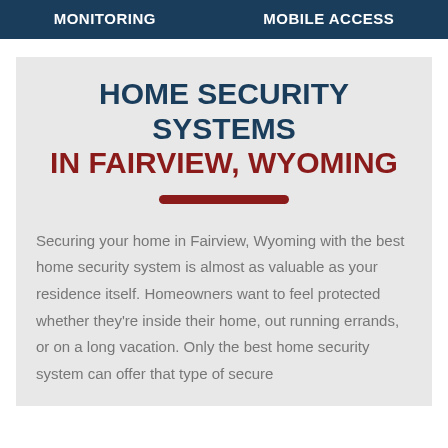MONITORING   MOBILE ACCESS
HOME SECURITY SYSTEMS IN FAIRVIEW, WYOMING
Securing your home in Fairview, Wyoming with the best home security system is almost as valuable as your residence itself. Homeowners want to feel protected whether they're inside their home, out running errands, or on a long vacation. Only the best home security system can offer that type of secure